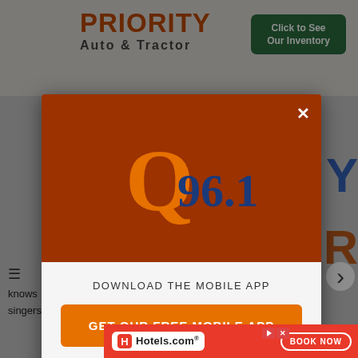[Figure (screenshot): Background page showing Priority Auto & Tractor advertisement banner at top, partially visible webpage content behind modal overlay]
[Figure (screenshot): Modal popup with Q96.1 radio station logo on dark orange/brown background top section, white bottom section with download app call to action]
DOWNLOAD THE MOBILE APP
GET OUR FREE MOBILE APP
Also listen on:  amazon alexa
[Figure (logo): Hotels.com advertisement banner at bottom with red background, Hotels.com logo and BOOK NOW button]